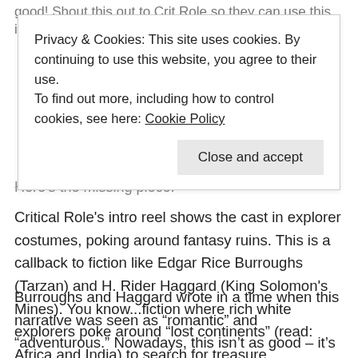good! Shout this out to Crit Role so they can use this into
Privacy & Cookies: This site uses cookies. By continuing to use this website, you agree to their use.
To find out more, including how to control cookies, see here: Cookie Policy
Here's the missing piece.
Critical Role's intro reel shows the cast in explorer costumes, poking around fantasy ruins. This is a callback to fiction like Edgar Rice Burroughs (Tarzan) and H. Rider Haggard (King Solomon's Mines). You know...fiction where rich white explorers poke around “lost continents” (read: Africa and India) to search for treasure.
Burroughs and Haggard wrote in a time when this narrative was seen as “romantic” and “adventurous.” Nowadays, this isn’t as good – it’s seen as exploitative of the native people. (Because it is).